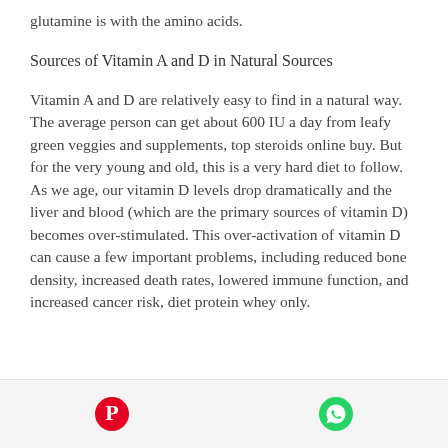glutamine is with the amino acids.
Sources of Vitamin A and D in Natural Sources
Vitamin A and D are relatively easy to find in a natural way. The average person can get about 600 IU a day from leafy green veggies and supplements, top steroids online buy. But for the very young and old, this is a very hard diet to follow. As we age, our vitamin D levels drop dramatically and the liver and blood (which are the primary sources of vitamin D) becomes over-stimulated. This over-activation of vitamin D can cause a few important problems, including reduced bone density, increased death rates, lowered immune function, and increased cancer risk, diet protein whey only.
[Figure (other): Footer bar with Pinterest and WhatsApp share icons]